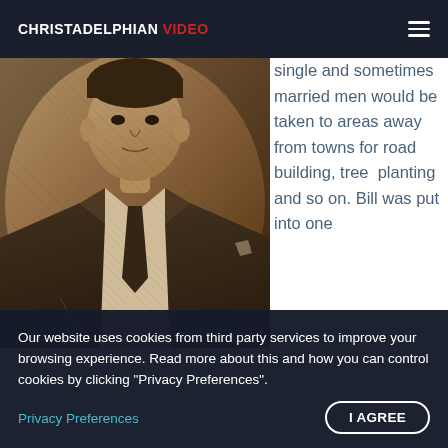CHRISTADELPHIAN VIDEO
[Figure (photo): Sepia-toned vintage portrait photograph of a man in a dark suit and tie, from approximately the mid-20th century, shown from approximately the waist up.]
single and sometimes married men would be taken to areas away from towns for road building, tree planting and so on. Bill was put into one
Our website uses cookies from third party services to improve your browsing experience. Read more about this and how you can control cookies by clicking "Privacy Preferences".
Privacy Preferences
I AGREE